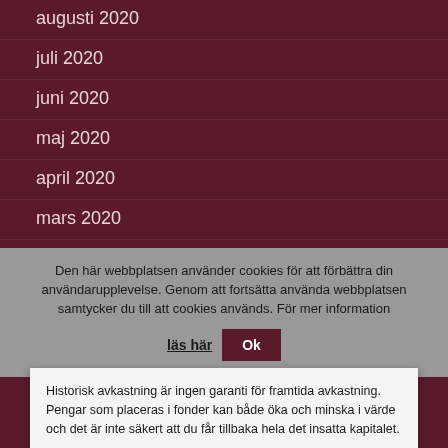augusti 2020
juli 2020
juni 2020
maj 2020
april 2020
mars 2020
februari 2020
januari 2020
december 2019
Den här webbplatsen använder cookies för att förbättra din användarupplevelse. Genom att fortsätta använda webbplatsen samtycker du till att cookies används. För mer information läs här Ok
augusti 2019
juli 2019
maj 2019
april 2019
mars 2019
Historisk avkastning är ingen garanti för framtida avkastning. Pengar som placeras i fonder kan både öka och minska i värde och det är inte säkert att du får tillbaka hela det insatta kapitalet.
Ok   Läs mer